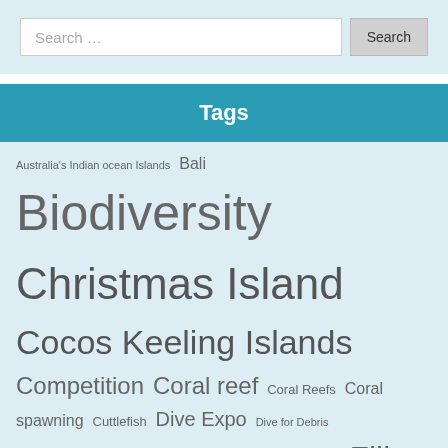[Figure (screenshot): Search bar with text input field showing 'Search …' placeholder and a 'Search' button]
Tags
Australia's Indian ocean Islands  Bali  Biodiversity  Christmas Island  Cocos Keeling Islands  Competition  Coral reef  Coral Reefs  Coral spawning  Cuttlefish  Dive Expo  Dive for Debris  Diveplanit App  Family friendly diving  Fiji  Fish Rock  Fish Rock Dive Centre  Flying Fish Cove  Great Barrier Reef  Grey Nurse Shark  Heron Island  HMAS Adelaide  Jellyfish  Lady Elliot Island  Lionfish  Lord Howe Island  Manta ray  Marine conservation  Marine environment  NSW  Nusa Penida  Ocean Film Festival  Ocean Plastic  Octopus  Passions Of Paradise  Queensland  Shark  shark attack  Shark Cull